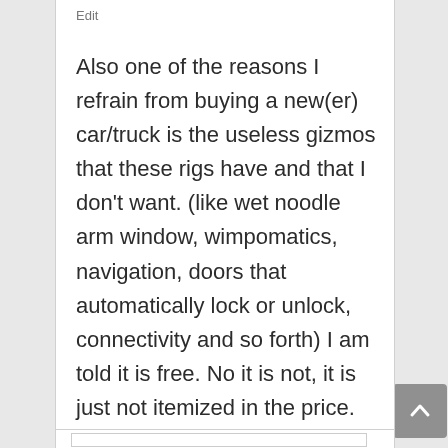Edit
Also one of the reasons I refrain from buying a new(er) car/truck is the useless gizmos that these rigs have and that I don't want. (like wet noodle arm window, wimpomatics, navigation, doors that automatically lock or unlock, connectivity and so forth) I am told it is free. No it is not, it is just not itemized in the price.